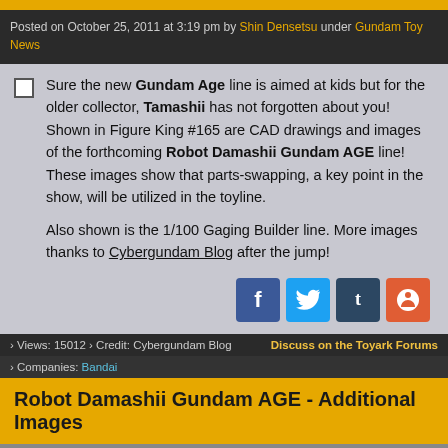Posted on October 25, 2011 at 3:19 pm by Shin Densetsu under Gundam Toy News
Sure the new Gundam Age line is aimed at kids but for the older collector, Tamashii has not forgotten about you! Shown in Figure King #165 are CAD drawings and images of the forthcoming Robot Damashii Gundam AGE line! These images show that parts-swapping, a key point in the show, will be utilized in the toyline.

Also shown is the 1/100 Gaging Builder line. More images thanks to Cybergundam Blog after the jump!
› Views: 15012 › Credit: Cybergundam Blog    Discuss on the Toyark Forums
› Companies: Bandai
Robot Damashii Gundam AGE - Additional Images
[Figure (photo): White image placeholder area for additional images]